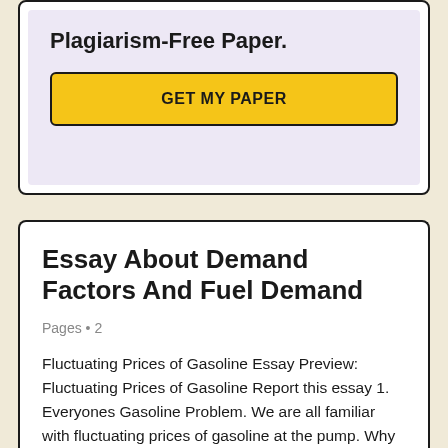Plagiarism-Free Paper.
GET MY PAPER
Essay About Demand Factors And Fuel Demand
Pages • 2
Fluctuating Prices of Gasoline Essay Preview: Fluctuating Prices of Gasoline Report this essay 1. Everyones Gasoline Problem. We are all familiar with fluctuating prices of gasoline at the pump. Why does this happen? Research the recent history of gasoline pricing in your area, and attempt to relate any fluctuations you observe to documented supply and